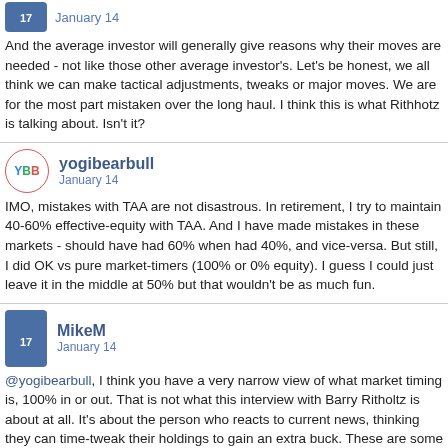January 14
And the average investor will generally give reasons why their moves are needed - not like those other average investor's. Let's be honest, we all think we can make tactical adjustments, tweaks or major moves. We are for the most part mistaken over the long haul. I think this is what Rithhotz is talking about. Isn't it?
yogibearbull
January 14
IMO, mistakes with TAA are not disastrous. In retirement, I try to maintain 40-60% effective-equity with TAA. And I have made mistakes in these markets - should have had 60% when had 40%, and vice-versa. But still, I did OK vs pure market-timers (100% or 0% equity). I guess I could just leave it in the middle at 50% but that wouldn't be as much fun.
MikeM
January 14
@yogibearbull, I think you have a very narrow view of what market timing is, 100% in or out. That is not what this interview with Barry Ritholtz is about at all. It's about the person who reacts to current news, thinking they can time-tweak their holdings to gain an extra buck. These are some of the comments Barry makes: